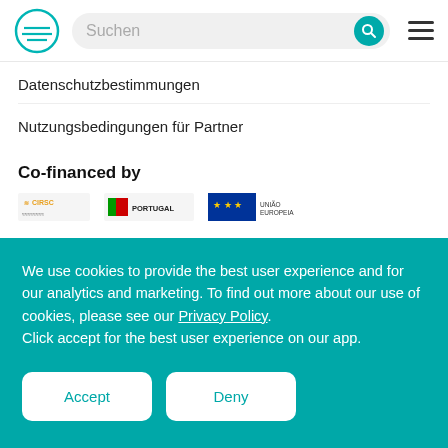Suchen
Datenschutzbestimmungen
Nutzungsbedingungen für Partner
Co-financed by
[Figure (logo): Logos: CIRSC, Portugal flag, União Europeia EU flag]
We use cookies to provide the best user experience and for our analytics and marketing. To find out more about our use of cookies, please see our Privacy Policy. Click accept for the best user experience on our app.
Accept
Deny